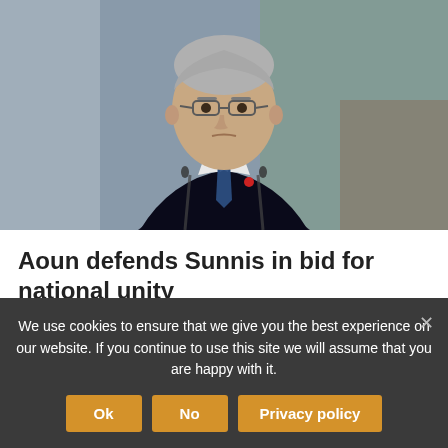[Figure (photo): Lebanese President Michel Aoun in a dark suit and blue tie, standing in front of Lebanese flags]
Aoun defends Sunnis in bid for national unity
7 months ago
Lebanese President Michel Aoun made a surprise visit to Dar Al-Fatwa on Saturday, where he met with Lebanon's Grand Mufti
We use cookies to ensure that we give you the best experience on our website. If you continue to use this site we will assume that you are happy with it.